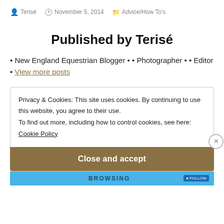Terisé  November 5, 2014  Advice/How To's
Published by Terisé
• New England Equestrian Blogger • • Photographer • • Editor • View more posts
Privacy & Cookies: This site uses cookies. By continuing to use this website, you agree to their use.
To find out more, including how to control cookies, see here:
Cookie Policy
Close and accept
[Figure (screenshot): Bottom bar showing 'BROWSING' text in blue banner]